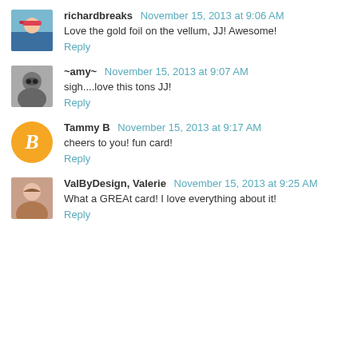richardbreaks November 15, 2013 at 9:06 AM
Love the gold foil on the vellum, JJ! Awesome!
Reply
~amy~ November 15, 2013 at 9:07 AM
sigh....love this tons JJ!
Reply
Tammy B November 15, 2013 at 9:17 AM
cheers to you! fun card!
Reply
ValByDesign, Valerie November 15, 2013 at 9:25 AM
What a GREAt card! I love everything about it!
Reply